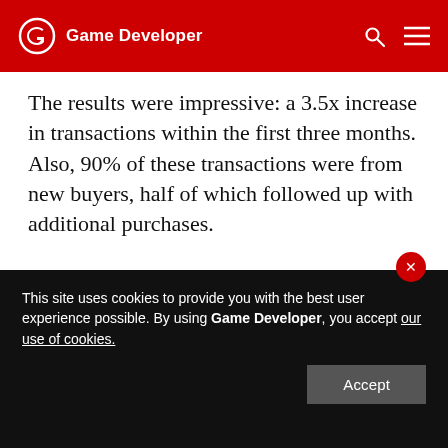Game Developer
The results were impressive: a 3.5x increase in transactions within the first three months. Also, 90% of these transactions were from new buyers, half of which followed up with additional purchases.
[Figure (illustration): Partial image of hands visible at the bottom, light beige/pink tones, on a gray background — partially obscured by cookie banner.]
This site uses cookies to provide you with the best user experience possible. By using Game Developer, you accept our use of cookies.